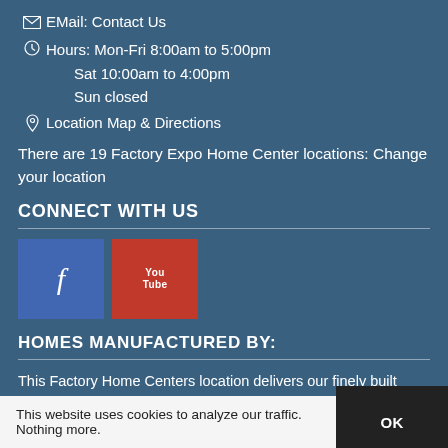EMail: Contact Us
Hours: Mon-Fri 8:00am to 5:00pm
Sat 10:00am to 4:00pm
Sun closed
Location Map & Directions
There are 19 Factory Expo Home Center locations: Change your location
CONNECT WITH US
[Figure (logo): Facebook and YouTube social media buttons]
HOMES MANUFACTURED BY:
This Factory Home Centers location delivers our finely built Chariot Eagle Homes to Florida, Georgia, Alabama & South Carolina.
This website uses cookies to analyze our traffic. Nothing more.   OK